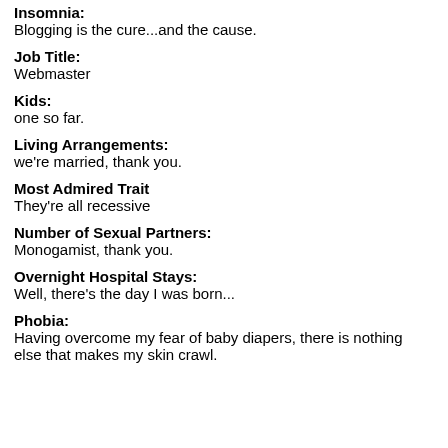Insomnia:
Blogging is the cure...and the cause.
Job Title:
Webmaster
Kids:
one so far.
Living Arrangements:
we're married, thank you.
Most Admired Trait
They're all recessive
Number of Sexual Partners:
Monogamist, thank you.
Overnight Hospital Stays:
Well, there's the day I was born...
Phobia:
Having overcome my fear of baby diapers, there is nothing else that makes my skin crawl.